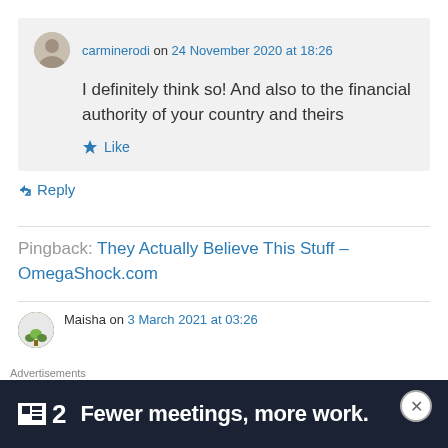carminerodi on 24 November 2020 at 18:26
I definitely think so! And also to the financial authority of your country and theirs
Like
Reply
Pingback: They Actually Believe This Stuff – OmegaShock.com
Maisha on 3 March 2021 at 03:26
Advertisements
2  Fewer meetings, more work.